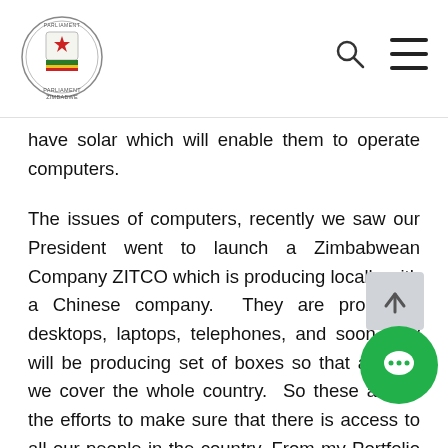Parliament of Zimbabwe – navigation header with logo, search icon, and menu icon
have solar which will enable them to operate computers.
The issues of computers, recently we saw our President went to launch a Zimbabwean Company ZITCO which is producing locally with a Chinese company. They are producing desktops, laptops, telephones, and soon they will be producing set of boxes so that at least we cover the whole country. So these are all the efforts to make sure that there is access to all our people in the country. From my Portfolio Ministry, the Ministry of Information, again, radio has got a wider reach. So, we have already started licencing more radios, community radios to make sure that we can reach out to a wider population, nobody should be left behind and Government is actually having a budget; it cannot be done over-night but this is the